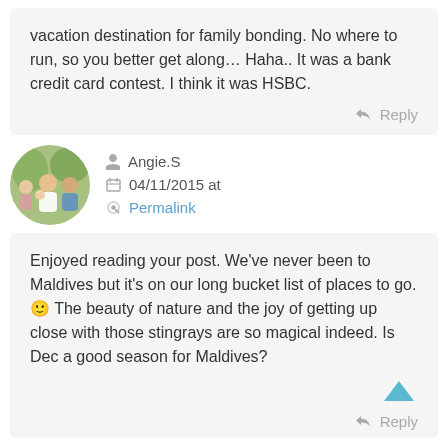vacation destination for family bonding. No where to run, so you better get along… Haha.. It was a bank credit card contest. I think it was HSBC.
↩ Reply
Angie.S
04/11/2015 at
Permalink
Enjoyed reading your post. We've never been to Maldives but it's on our long bucket list of places to go. 🙂 The beauty of nature and the joy of getting up close with those stingrays are so magical indeed. Is Dec a good season for Maldives?
↩ Reply